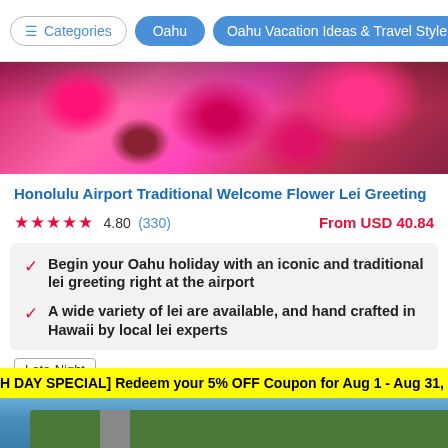Categories | Oahu | Oahu Vacation Ideas & Travel Style
[Figure (photo): Colorful pink and magenta tropical flowers, close-up view]
Honolulu Airport Traditional Welcome Flower Lei Greeting
★★★★★ 4.80 (330) From USD 40.84
Begin your Oahu holiday with an iconic and traditional lei greeting right at the airport
A wide variety of lei are available, and hand crafted in Hawaii by local lei experts
Late-Night
Daily, Wheelchair accessible
[EACH DAY SPECIAL] Redeem your 5% OFF Coupon for Aug 1 - Aug 31,
[Figure (photo): Aerial view of a coastal area with green parkland, marina, and water, with a Special Deals badge overlay]